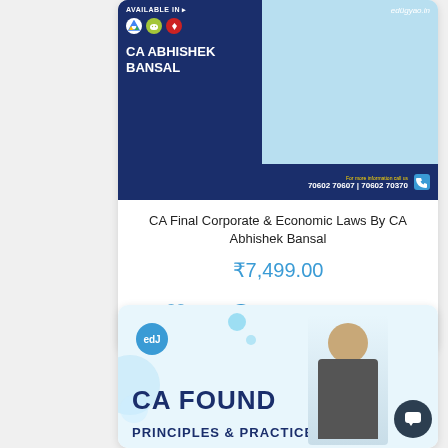[Figure (photo): Product card image for CA Final Corporate & Economic Laws course by CA Abhishek Bansal. Shows logos (Google Drive, Android, pen), instructor name, edugyaan.in branding, phone numbers 70602 70607 | 70602 70370 on dark blue background with light blue section showing instructor photo.]
CA Final Corporate & Economic Laws By CA Abhishek Bansal
₹7,499.00
[Figure (illustration): Action icons row: heart/wishlist, WhatsApp, phone call, YouTube]
[Figure (photo): Product card image for CA Foundation Principles & Practice course. Shows edJ logo circle, decorative bubbles, bold text CA FOUND... and PRINCIPLES & PRACTICE with instructor photo on right side.]